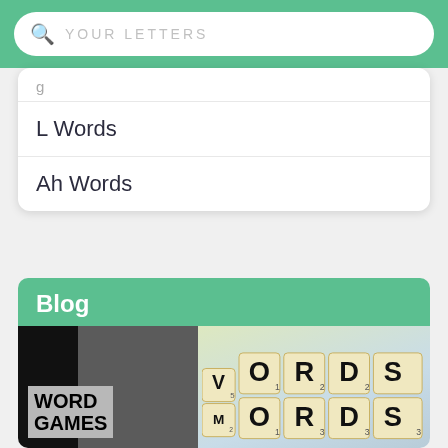YOUR LETTERS (search bar)
L Words
Ah Words
Blog
[Figure (photo): Blog image showing 'WORD GAMES' text on dark background alongside Scrabble tiles spelling WORDS]